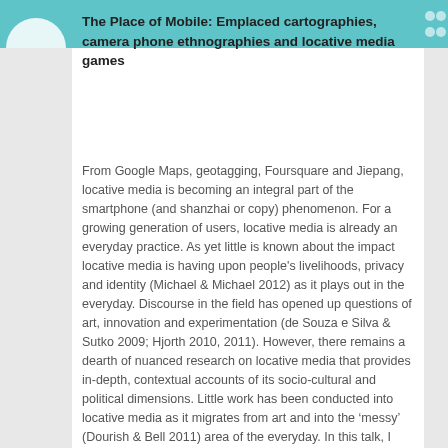The Place of Mobile: Emplaced cartographies, camera phone ethnographies and locative media games
From Google Maps, geotagging, Foursquare and Jiepang, locative media is becoming an integral part of the smartphone (and shanzhai or copy) phenomenon. For a growing generation of users, locative media is already an everyday practice. As yet little is known about the impact locative media is having upon people’s livelihoods, privacy and identity (Michael & Michael 2012) as it plays out in the everyday. Discourse in the field has opened up questions of art, innovation and experimentation (de Souza e Silva & Sutko 2009; Hjorth 2010, 2011). However, there remains a dearth of nuanced research on locative media that provides in-depth, contextual accounts of its socio-cultural and political dimensions. Little work has been conducted into locative media as it migrates from art and into the ‘messy’ (Dourish & Bell 2011) area of the everyday. In this talk, I